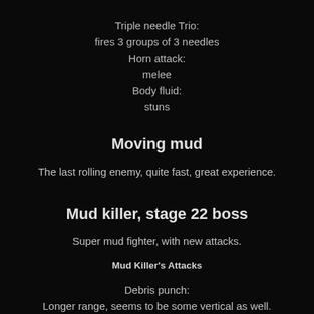Triple needle Trio:
fires 3 groups of 3 needles
Horn attack:
melee
Body fluid:
stuns
Moving mud
The last rolling enemy, quite fast, great experience.
Mud killer, stage 22 boss
Super mud fighter, with new attacks.
Mud Killer's Attacks
Debris punch:
Longer range, seems to be some vertical as well.
Rock throw: